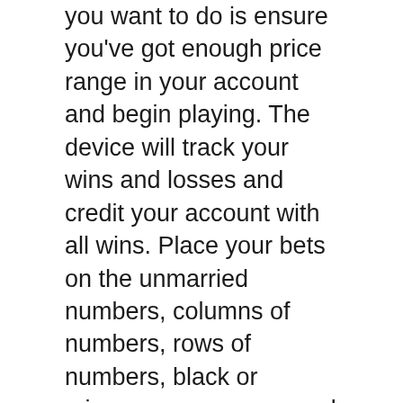you want to do is ensure you've got enough price range in your account and begin playing. The device will track your wins and losses and credit your account with all wins. Place your bets on the unmarried numbers, columns of numbers, rows of numbers, black or crimson, even or unusual to play the online on line casino game. If you should win, the slot roulette can pay all numbers that had chips located on those spots on the casino odds related to the specific bets that have been wagered.
Slot roulette can be plenty of fun, whether you're gambling loose on-line roulette or playing roulette for real money from your account. Many players will use the slot roulette video games to assist them develop